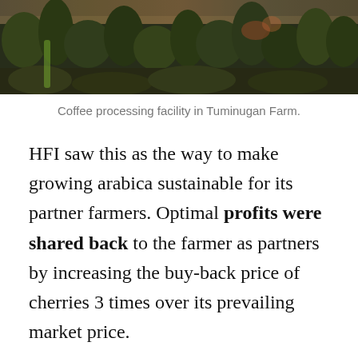[Figure (photo): Aerial/ground view of a coffee processing facility in Tuminugan Farm, showing trees and tropical vegetation in misty/smoky conditions]
Coffee processing facility in Tuminugan Farm.
HFI saw this as the way to make growing arabica sustainable for its partner farmers. Optimal profits were shared back to the farmer as partners by increasing the buy-back price of cherries 3 times over its prevailing market price.
Since closing the loop from farmer to